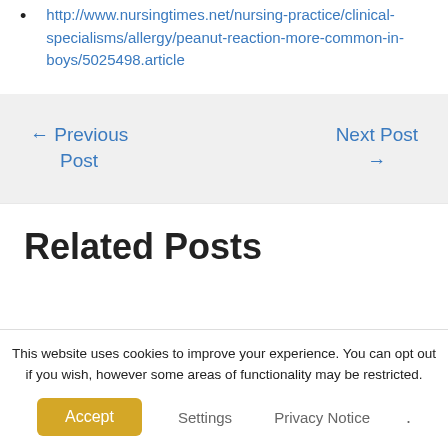http://www.nursingtimes.net/nursing-practice/clinical-specialisms/allergy/peanut-reaction-more-common-in-boys/5025498.article
← Previous Post
Next Post →
Related Posts
This website uses cookies to improve your experience. You can opt out if you wish, however some areas of functionality may be restricted.